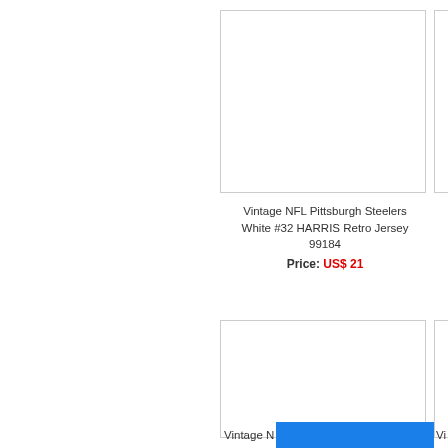[Figure (photo): Product image placeholder box for Vintage NFL Pittsburgh Steelers White #32 HARRIS Retro Jersey 99184 (top left item)]
[Figure (photo): Product image placeholder box (top right item, partially visible)]
Vintage NFL Pittsburgh Steelers White #32 HARRIS Retro Jersey 99184
Price: US$ 21
[Figure (photo): Product image placeholder box for second product (bottom left item)]
[Figure (photo): Product image placeholder box (bottom right item, partially visible)]
Vintage N
Vi